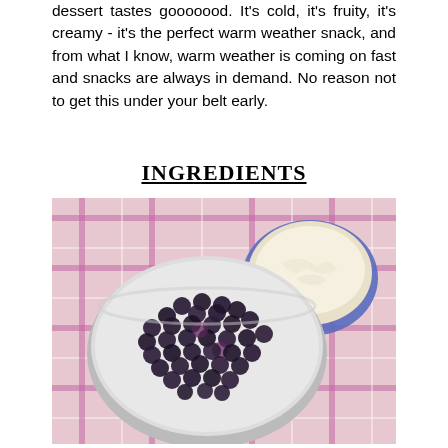dessert tastes gooooood. It's cold, it's fruity, it's creamy - it's the perfect warm weather snack, and from what I know, warm weather is coming on fast and snacks are always in demand. No reason not to get this under your belt early.
INGREDIENTS
[Figure (photo): A white bowl filled with frozen blueberries and a smaller blue bowl of cream/yogurt, placed on a pink and white plaid tablecloth.]